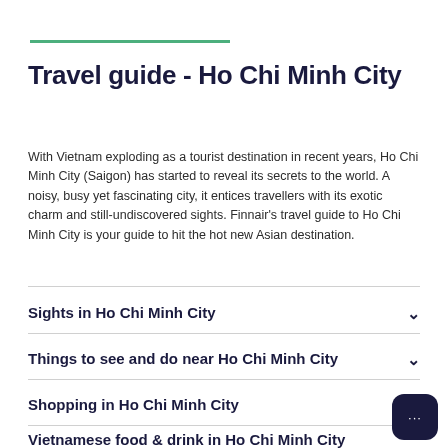Travel guide - Ho Chi Minh City
With Vietnam exploding as a tourist destination in recent years, Ho Chi Minh City (Saigon) has started to reveal its secrets to the world. A noisy, busy yet fascinating city, it entices travellers with its exotic charm and still-undiscovered sights. Finnair’s travel guide to Ho Chi Minh City is your guide to hit the hot new Asian destination.
Sights in Ho Chi Minh City
Things to see and do near Ho Chi Minh City
Shopping in Ho Chi Minh City
Vietnamese food & drink in Ho Chi Minh City